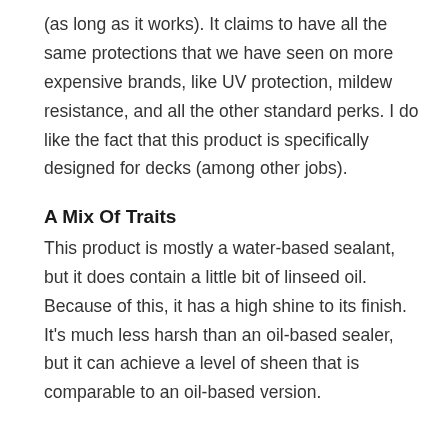(as long as it works). It claims to have all the same protections that we have seen on more expensive brands, like UV protection, mildew resistance, and all the other standard perks. I do like the fact that this product is specifically designed for decks (among other jobs).
A Mix Of Traits
This product is mostly a water-based sealant, but it does contain a little bit of linseed oil. Because of this, it has a high shine to its finish. It's much less harsh than an oil-based sealer, but it can achieve a level of sheen that is comparable to an oil-based version.